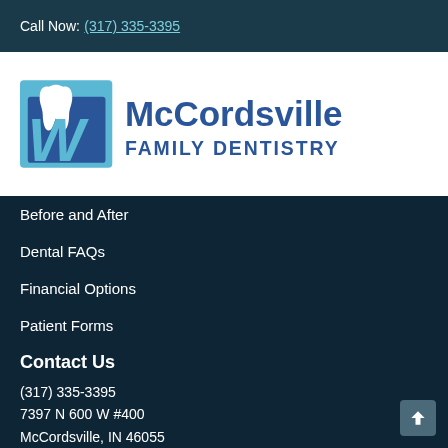Call Now: (317) 335-3395
[Figure (logo): McCordsville Family Dentistry logo with tooth and W letter mark in blue]
Before and After
Dental FAQs
Financial Options
Patient Forms
Contact Us
(317) 335-3395
7397 N 600 W #400
McCordsville, IN 46055